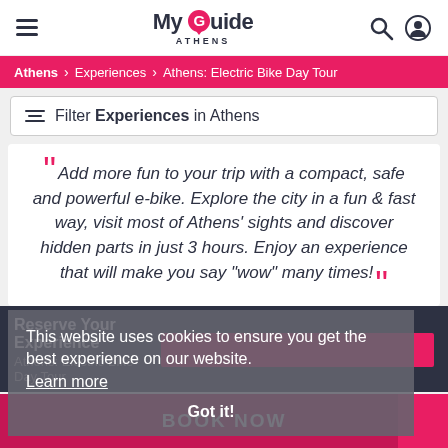My Guide Athens
Athens > Experiences > Athens: Electric Bike Day Tour
Filter Experiences in Athens
Add more fun to your trip with a compact, safe and powerful e-bike. Explore the city in a fun & fast way, visit most of Athens' sights and discover hidden parts in just 3 hours. Enjoy an experience that will make you say "wow" many times!
This website uses cookies to ensure you get the best experience on our website. Learn more Got it!
Reserve Your Experience
Athens: Electric Bike Day Tour
BOOK NOW